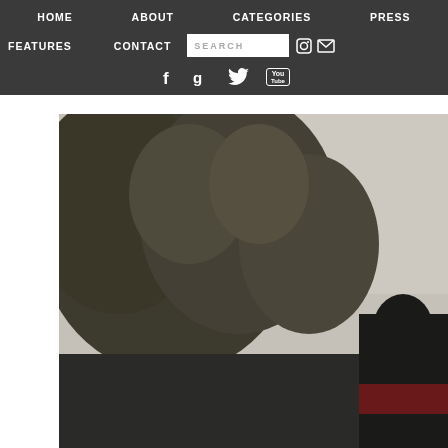HOME   ABOUT   CATEGORIES   PRESS
FEATURES   CONTACT   SEARCH   [instagram icon] [mail icon]
[facebook] [google+] [twitter] [youtube]
[Figure (photo): Outdoor photograph in sepia/desaturated tones showing trees and a person wearing a dark shirt with red accents, partially visible at bottom right.]